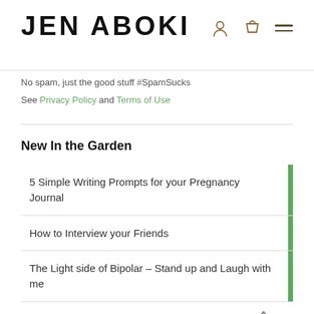JEN ABOKI
No spam, just the good stuff #SpamSucks
See Privacy Policy and Terms of Use
New In the Garden
5 Simple Writing Prompts for your Pregnancy Journal
How to Interview your Friends
The Light side of Bipolar – Stand up and Laugh with me